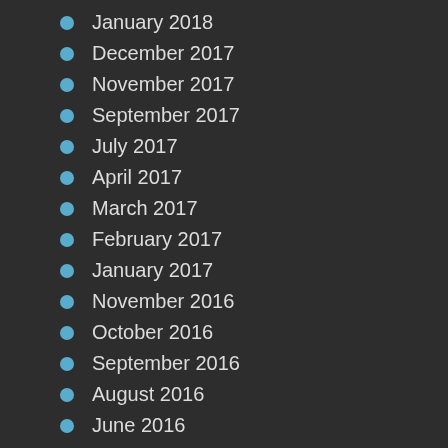January 2018
December 2017
November 2017
September 2017
July 2017
April 2017
March 2017
February 2017
January 2017
November 2016
October 2016
September 2016
August 2016
June 2016
May 2016